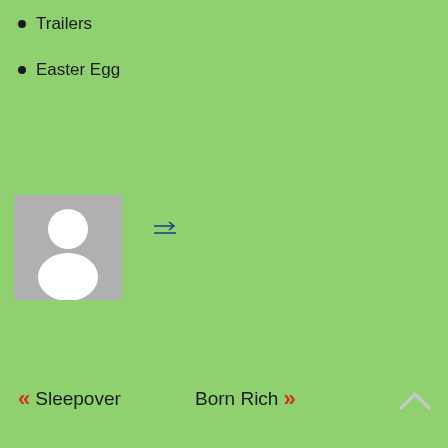Trailers
Easter Egg
[Figure (illustration): Placeholder person avatar icon: grey square background with white silhouette of a person (head circle and body)]
[Figure (other): Small navigation arrow icon with underline, dark blue color, pointing right]
« Sleepover   Born Rich »
[Figure (other): Up arrow chevron icon in light grey, bottom right corner]